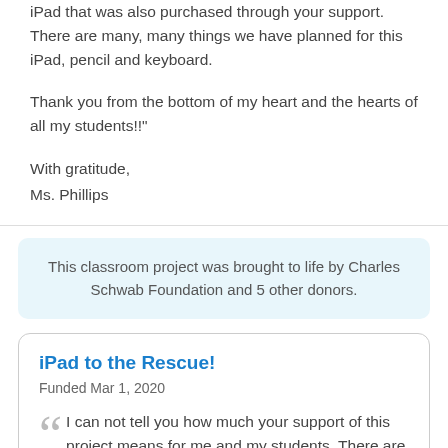iPad that was also purchased through your support. There are many, many things we have planned for this iPad, pencil and keyboard.
Thank you from the bottom of my heart and the hearts of all my students!!"
With gratitude,
Ms. Phillips
This classroom project was brought to life by Charles Schwab Foundation and 5 other donors.
iPad to the Rescue!
Funded Mar 1, 2020
I can not tell you how much your support of this project means for me and my students. There are